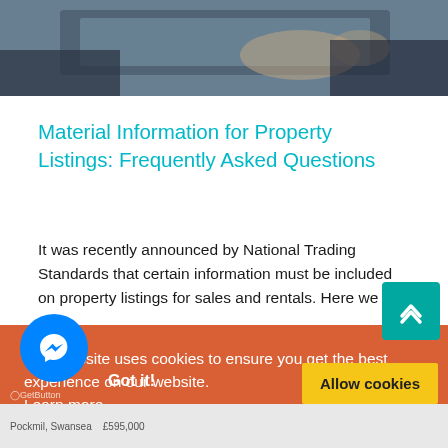[Figure (photo): Photo of person working on laptop, viewed from above/side, partial view of hands and keyboard]
Material Information for Property Listings: Frequently Asked Questions
It was recently announced by National Trading Standards that certain information must be included on property listings for sales and rentals. Here we
This website uses cookies to ensure you get the best experience on our website.
Learn more
Got it!
Allow cookies